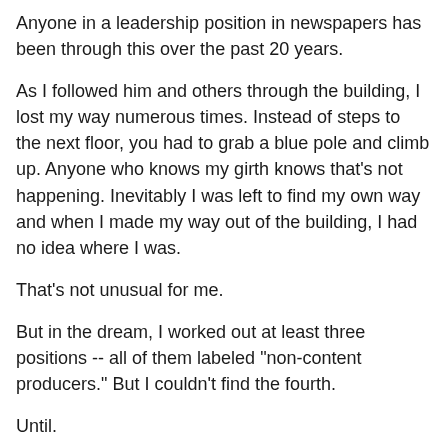Anyone in a leadership position in newspapers has been through this over the past 20 years.
As I followed him and others through the building, I lost my way numerous times. Instead of steps to the next floor, you had to grab a blue pole and climb up. Anyone who knows my girth knows that's not happening. Inevitably I was left to find my own way and when I made my way out of the building, I had no idea where I was.
That's not unusual for me.
But in the dream, I worked out at least three positions -- all of them labeled "non-content producers." But I couldn't find the fourth.
Until.
Then I realized I was the fourth. I wrote a column but that hardly constituted content these days.
I woke up at the end of the dream.
And then I'd have it again. It would go the same each time.